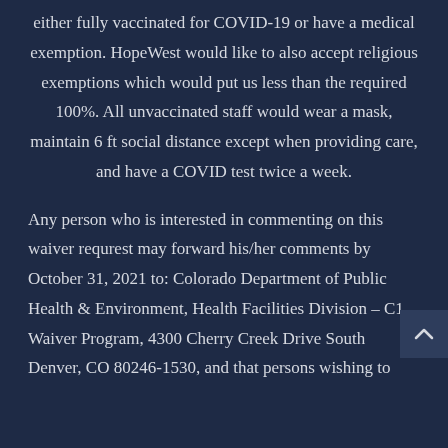either fully vaccinated for COVID-19 or have a medical exemption. HopeWest would like to also accept religious exemptions which would put us less than the required 100%. All unvaccinated staff would wear a mask, maintain 6 ft social distance except when providing care, and have a COVID test twice a week.
Any person who is interested in commenting on this waiver requrest may forward his/her comments by October 31, 2021 to: Colorado Department of Public Health & Environment, Health Facilities Division – C1 – Waiver Program, 4300 Cherry Creek Drive South Denver, CO 80246-1530, and that persons wishing to